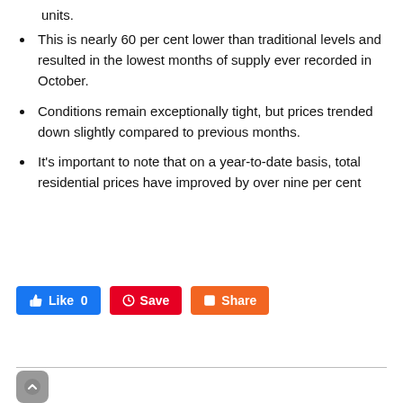units.
This is nearly 60 per cent lower than traditional levels and resulted in the lowest months of supply ever recorded in October.
Conditions remain exceptionally tight, but prices trended down slightly compared to previous months.
It's important to note that on a year-to-date basis, total residential prices have improved by over nine per cent